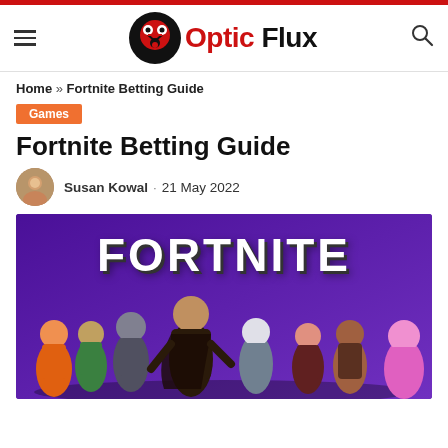Optic Flux
Home » Fortnite Betting Guide
Games
Fortnite Betting Guide
Susan Kowal · 21 May 2022
[Figure (photo): Fortnite promotional image showing multiple game characters in front of a purple background with the word FORTNITE in large white block letters]